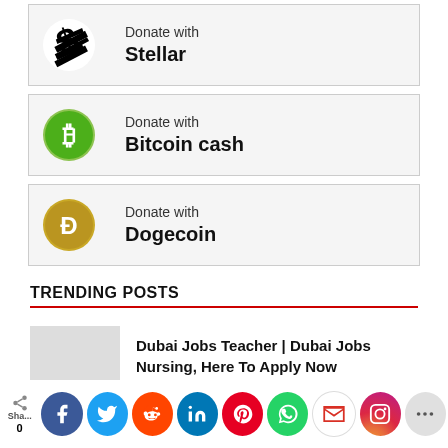[Figure (infographic): Donate with Stellar row with Stellar logo (black S symbol)]
[Figure (infographic): Donate with Bitcoin cash row with green Bitcoin Cash logo]
[Figure (infographic): Donate with Dogecoin row with gold Dogecoin logo]
TRENDING POSTS
Dubai Jobs Teacher | Dubai Jobs Nursing, Here To Apply Now
Simply Sweets Delivery Drivers Wanted In Canada | Apply Now
[Figure (infographic): Social sharing bar with icons: share count 0, Facebook, Twitter, Reddit, LinkedIn, Pinterest, WhatsApp, Gmail, Instagram, More]